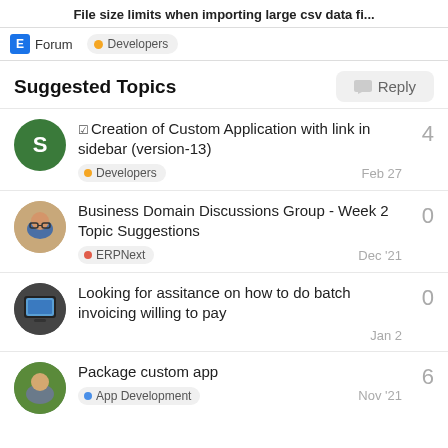File size limits when importing large csv data fi...
Forum · Developers
Suggested Topics
Creation of Custom Application with link in sidebar (version-13) · Developers · Feb 27 · 4 replies
Business Domain Discussions Group - Week 2 Topic Suggestions · ERPNext · Dec '21 · 0 replies
Looking for assitance on how to do batch invoicing willing to pay · Jan 2 · 0 replies
Package custom app · App Development · Nov '21 · 6 replies